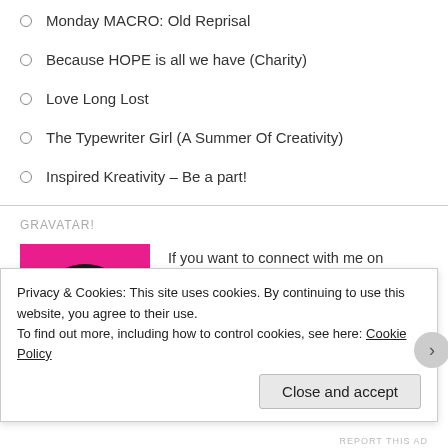Monday MACRO: Old Reprisal
Because HOPE is all we have (Charity)
Love Long Lost
The Typewriter Girl (A Summer Of Creativity)
Inspired Kreativity – Be a part!
GRAVATAR!
[Figure (photo): Profile photo of a young man smiling, on a pink/magenta background]
If you want to connect with me on Facebook, click on my Face
Privacy & Cookies: This site uses cookies. By continuing to use this website, you agree to their use.
To find out more, including how to control cookies, see here: Cookie Policy